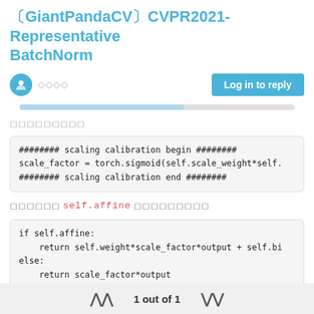〔GiantPandaCV〕CVPR2021-Representative BatchNorm
◇◇◇◇ (username icons)
◻◻◻◻◻◻◻◻◻ (progress placeholder text)
code block: ######## scaling calibration begin ######## scale_factor = torch.sigmoid(self.scale_weight*self. ######## scaling calibration end ########
◻◻◻◻◻◻ self.affine ◻◻◻◻◻◻◻◻◻
code block: if self.affine:
    return self.weight*scale_factor*output + self.bi
else:
    return scale_factor*output
◻◻
1 out of 1